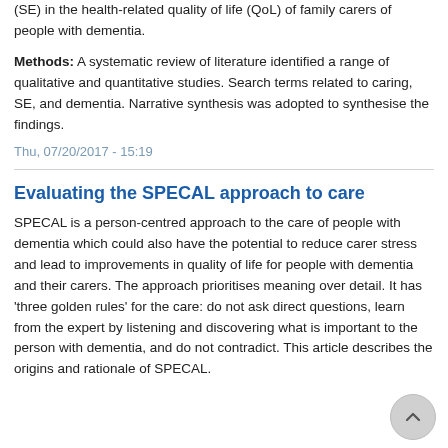(SE) in the health-related quality of life (QoL) of family carers of people with dementia.
Methods: A systematic review of literature identified a range of qualitative and quantitative studies. Search terms related to caring, SE, and dementia. Narrative synthesis was adopted to synthesise the findings.
Thu, 07/20/2017 - 15:19
Evaluating the SPECAL approach to care
SPECAL is a person-centred approach to the care of people with dementia which could also have the potential to reduce carer stress and lead to improvements in quality of life for people with dementia and their carers. The approach prioritises meaning over detail. It has 'three golden rules' for the care: do not ask direct questions, learn from the expert by listening and discovering what is important to the person with dementia, and do not contradict. This article describes the origins and rationale of SPECAL.